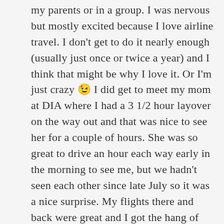my parents or in a group. I was nervous but mostly excited because I love airline travel. I don't get to do it nearly enough (usually just once or twice a year) and I think that might be why I love it. Or I'm just crazy 😉 I did get to meet my mom at DIA where I had a 3 1/2 hour layover on the way out and that was nice to see her for a couple of hours. She was so great to drive an hour each way early in the morning to see me, but we hadn't seen each other since late July so it was a nice surprise. My flights there and back were great and I got the hang of putting my carry-on suitcase up in the overhead compartments. That was legitimately my biggest concern…I thought I'd be that girl who couldn't even lift her own bag over her head but it wasn't that awkward. And my seatmates weren't totally annoying so that was good too.